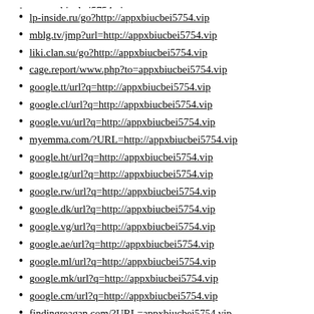lp-inside.ru/go?http://appxbiucbei5754.vip
mblg.tv/jmp?url=http://appxbiucbei5754.vip
liki.clan.su/go?http://appxbiucbei5754.vip
cage.report/www.php?to=appxbiucbei5754.vip
google.tt/url?q=http://appxbiucbei5754.vip
google.cl/url?q=http://appxbiucbei5754.vip
google.vu/url?q=http://appxbiucbei5754.vip
myemma.com/?URL=http://appxbiucbei5754.vip
google.ht/url?q=http://appxbiucbei5754.vip
google.tg/url?q=http://appxbiucbei5754.vip
google.rw/url?q=http://appxbiucbei5754.vip
google.dk/url?q=http://appxbiucbei5754.vip
google.vg/url?q=http://appxbiucbei5754.vip
google.ae/url?q=http://appxbiucbei5754.vip
google.ml/url?q=http://appxbiucbei5754.vip
google.mk/url?q=http://appxbiucbei5754.vip
google.cm/url?q=http://appxbiucbei5754.vip
findingreagan.com/?URL=appxbiucbei5754.vip